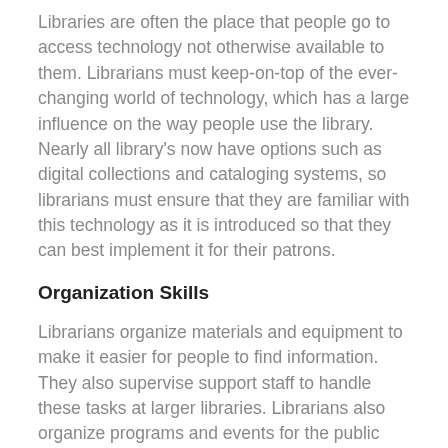Libraries are often the place that people go to access technology not otherwise available to them. Librarians must keep-on-top of the ever-changing world of technology, which has a large influence on the way people use the library. Nearly all library's now have options such as digital collections and cataloging systems, so librarians must ensure that they are familiar with this technology as it is introduced so that they can best implement it for their patrons.
Organization Skills
Librarians organize materials and equipment to make it easier for people to find information. They also supervise support staff to handle these tasks at larger libraries. Librarians also organize programs and events for the public such as lectures, book discussion groups and children's